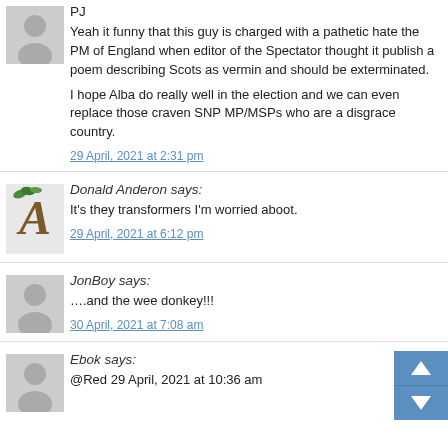PJ
Yeah it funny that this guy is charged with a pathetic hate the PM of England when editor of the Spectator thought it publish a poem describing Scots as vermin and should be exterminated.
I hope Alba do really well in the election and we can even replace those craven SNP MP/MSPs who are a disgrace country.
29 April, 2021 at 2:31 pm
Donald Anderon says:
It's they transformers I'm worried aboot.
29 April, 2021 at 6:12 pm
JonBoy says:
….and the wee donkey!!!
30 April, 2021 at 7:08 am
Ebok says:
@Red 29 April, 2021 at 10:36 am